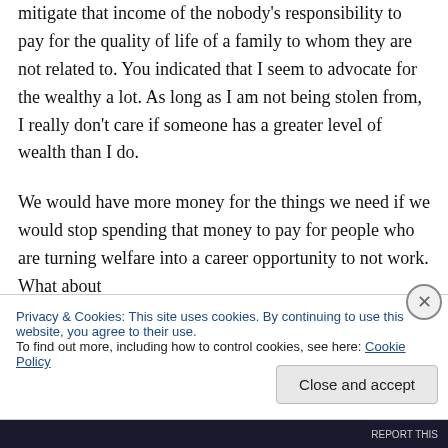mitigate that income of the nobody's responsibility to pay for the quality of life of a family to whom they are not related to. You indicated that I seem to advocate for the wealthy a lot. As long as I am not being stolen from, I really don't care if someone has a greater level of wealth than I do.

We would have more money for the things we need if we would stop spending that money to pay for people who are turning welfare into a career opportunity to not work. What about
Privacy & Cookies: This site uses cookies. By continuing to use this website, you agree to their use.
To find out more, including how to control cookies, see here: Cookie Policy
Close and accept